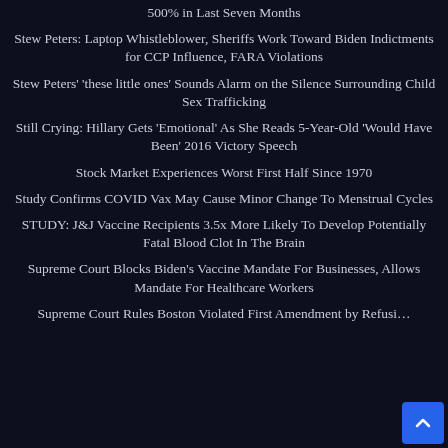500% in Last Seven Months
Stew Peters: Laptop Whistleblower, Sheriffs Work Toward Biden Indictments for CCP Influence, FARA Violations
Stew Peters' 'these little ones' Sounds Alarm on the Silence Surrounding Child Sex Trafficking
Still Crying: Hillary Gets 'Emotional' As She Reads 5-Year-Old 'Would Have Been' 2016 Victory Speech
Stock Market Experiences Worst First Half Since 1970
Study Confirms COVID Vax May Cause Minor Change To Menstrual Cycles
STUDY: J&J Vaccine Recipients 3.5x More Likely To Develop Potentially Fatal Blood Clot In The Brain
Supreme Court Blocks Biden's Vaccine Mandate For Businesses, Allows Mandate For Healthcare Workers
Supreme Court Rules Boston Violated First Amendment by Refusi…